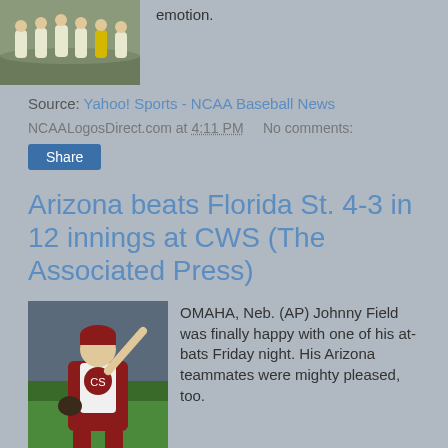[Figure (photo): Baseball team players celebrating on field, wearing white and yellow uniforms]
emotion.
Source: Yahoo! Sports - NCAA Baseball News
NCAALogosDirect.com at 4:11 PM   No comments:
Share
Arizona beats Florida St. 4-3 in 12 innings at CWS (The Associated Press)
[Figure (photo): Baseball pitcher in maroon and white uniform throwing a pitch]
OMAHA, Neb. (AP) Johnny Field was finally happy with one of his at-bats Friday night. His Arizona teammates were mighty pleased, too.